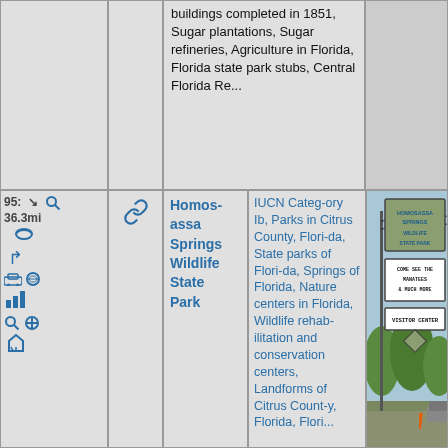| # | Icons | Name | Categories | Image |
| --- | --- | --- | --- | --- |
|  |  | buildings completed in 1851, Sugar plantations, Sugar refineries, Agriculture in Florida, Florida state park stubs, Central Florida Re... |  |  |
| 95: 36.3mi | icons | Homosassa Springs Wildlife State Park | IUCN Category Ib, Parks in Citrus County, Florida, State parks of Florida, Springs of Florida, Nature centers in Florida, Wildlife rehabilitation and conservation centers, Landforms of Citrus County, Florida, Flori... | photo of Homosassa Springs Wildlife State Park sign |